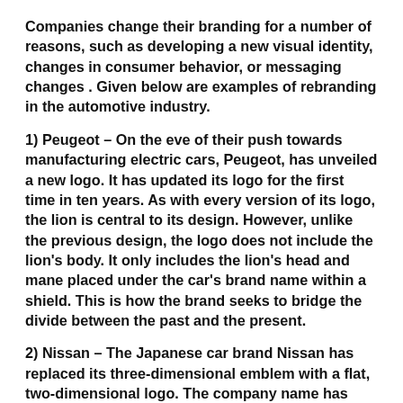Companies change their branding for a number of reasons, such as developing a new visual identity, changes in consumer behavior, or messaging changes . Given below are examples of rebranding in the automotive industry.
1) Peugeot – On the eve of their push towards manufacturing electric cars, Peugeot, has unveiled a new logo. It has updated its logo for the first time in ten years. As with every version of its logo, the lion is central to its design. However, unlike the previous design, the logo does not include the lion's body. It only includes the lion's head and mane placed under the car's brand name within a shield. This is how the brand seeks to bridge the divide between the past and the present.
2) Nissan – The Japanese car brand Nissan has replaced its three-dimensional emblem with a flat, two-dimensional logo. The company name has remained at the center of the logo, but it is no longer raised and has been simplified. The lettering has been stretched out to offer a cleaner...